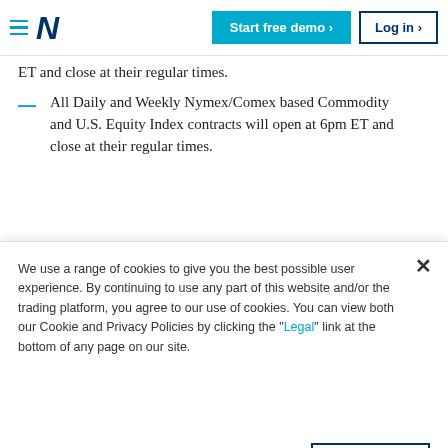Start free demo | Log in
ET and close at their regular times.
All Daily and Weekly Nymex/Comex based Commodity and U.S. Equity Index contracts will open at 6pm ET and close at their regular times.
All Daily and Weekly Currency contracts
We use a range of cookies to give you the best possible user experience. By continuing to use any part of this website and/or the trading platform, you agree to our use of cookies. You can view both our Cookie and Privacy Policies by clicking the "Legal" link at the bottom of any page on our site.